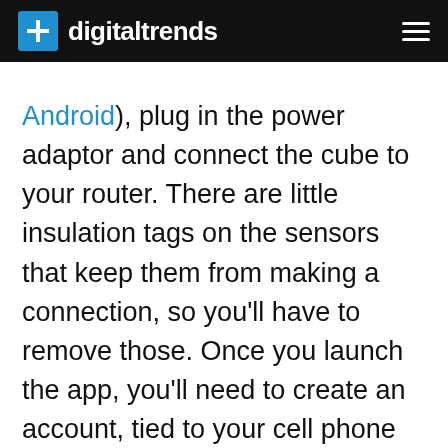digitaltrends
Android), plug in the power adaptor and connect the cube to your router. There are little insulation tags on the sensors that keep them from making a connection, so you'll have to remove those. Once you launch the app, you'll need to create an account, tied to your cell phone number. The app will guide you through the steps, including searching for your sensors, motion detector, and remotes. The first time going through this process was a breeze. However, if you delete the OneCube